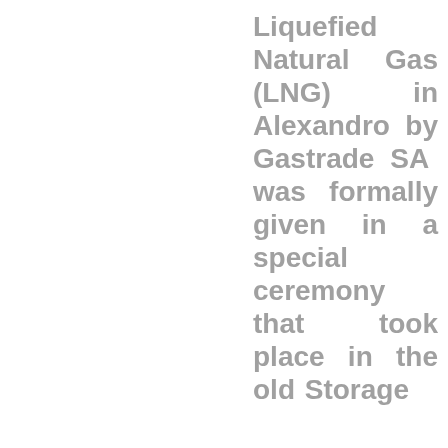Liquefied Natural Gas (LNG) in Alexandro by Gastrade SA was formally given in a special ceremony that took place in the old Storage